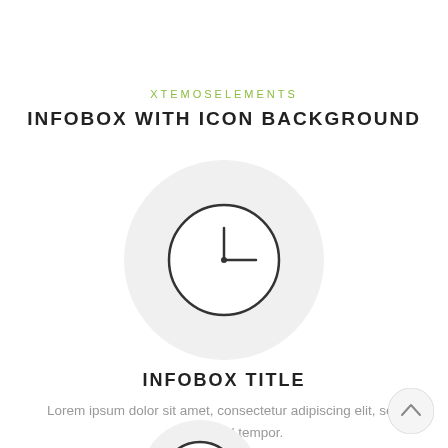XTEMOSELEMENTS
INFOBOX WITH ICON BACKGROUND
[Figure (illustration): A clock icon inside a large light grey circle background]
INFOBOX TITLE
Lorem ipsum dolor sit amet, consectetur adipiscing elit, sed do eiusmod tempor.
[Figure (illustration): A partial clock icon inside a large light grey circle background, cropped at bottom of page]
[Figure (illustration): A small circular back-to-top button with an upward chevron arrow, bottom right corner]